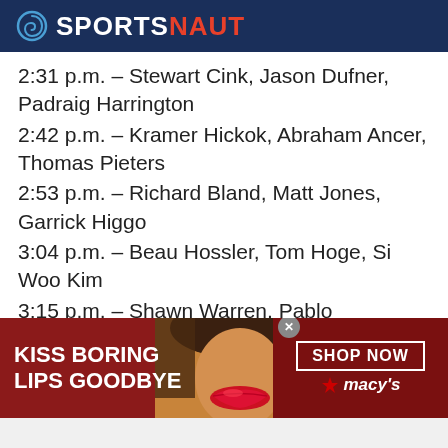SPORTSNAUT
2:31 p.m. – Stewart Cink, Jason Dufner, Padraig Harrington
2:42 p.m. – Kramer Hickok, Abraham Ancer, Thomas Pieters
2:53 p.m. – Richard Bland, Matt Jones, Garrick Higgo
3:04 p.m. – Beau Hossler, Tom Hoge, Si Woo Kim
3:15 p.m. – Shawn Warren, Pablo Larrazabal, Ryan Fox
3:26 p.m. – Zac Oakley, Yuki Inamori, Sebastián Muñoz
[Figure (infographic): Macy's advertisement banner: 'KISS BORING LIPS GOODBYE' with a woman's face showing red lips and a 'SHOP NOW' button with the Macy's star logo]